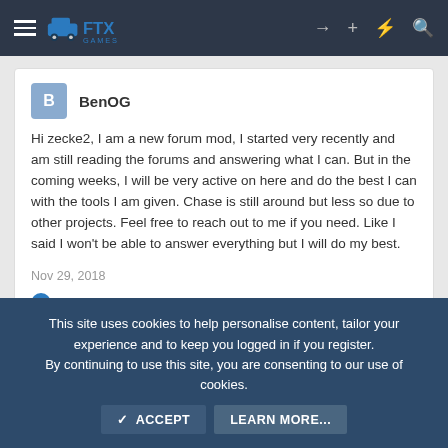FTX Games navigation bar
BenOG
Hi zecke2, I am a new forum mod, I started very recently and am still reading the forums and answering what I can. But in the coming weeks, I will be very active on here and do the best I can with the tools I am given. Chase is still around but less so due to other projects. Feel free to reach out to me if you need. Like I said I won't be able to answer everything but I will do my best.
Nov 29, 2018
April - FTX Games and Badassant
This site uses cookies to help personalise content, tailor your experience and to keep you logged in if you register.
By continuing to use this site, you are consenting to our use of cookies.
ACCEPT   LEARN MORE...